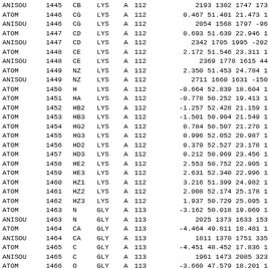| ANISOU | 1445 | CB | LYS | A | 112 | 2193   1302   1747    173 |
| ATOM | 1446 | CG | LYS | A | 112 | 0.467  51.401  21.473  1 |
| ANISOU | 1446 | CG | LYS | A | 112 | 2054   1568   1797    -96 |
| ATOM | 1447 | CD | LYS | A | 112 | 0.693  51.639  22.946  1 |
| ANISOU | 1447 | CD | LYS | A | 112 | 2342   1705   1995   -202 |
| ATOM | 1448 | CE | LYS | A | 112 | 2.172  51.546  23.311  1 |
| ANISOU | 1448 | CE | LYS | A | 112 | 2369   1778   1615     44 |
| ATOM | 1449 | NZ | LYS | A | 112 | 2.350  51.453  24.784  1 |
| ANISOU | 1449 | NZ | LYS | A | 112 | 2711   1660   1631   -150 |
| ATOM | 1450 | H | LYS | A | 112 | -0.664  52.839  18.604  1 |
| ATOM | 1451 | HA | LYS | A | 112 | -0.778  50.252  19.413  1 |
| ATOM | 1452 | HB2 | LYS | A | 112 | -1.257  52.428  21.159  1 |
| ATOM | 1453 | HB3 | LYS | A | 112 | -1.501  50.904  21.549  1 |
| ATOM | 1454 | HG2 | LYS | A | 112 | 0.784  50.507  21.270  1 |
| ATOM | 1455 | HG3 | LYS | A | 112 | 0.996  52.052  20.987  1 |
| ATOM | 1456 | HD2 | LYS | A | 112 | 0.379  52.527  23.178  1 |
| ATOM | 1457 | HD3 | LYS | A | 112 | 0.212  50.969  23.456  1 |
| ATOM | 1458 | HE2 | LYS | A | 112 | 2.553  50.752  22.905  1 |
| ATOM | 1459 | HE3 | LYS | A | 112 | 2.631  52.340  22.996  1 |
| ATOM | 1460 | HZ1 | LYS | A | 112 | 3.216  51.399  24.982  1 |
| ATOM | 1461 | HZ2 | LYS | A | 112 | 2.008  52.174  25.178  1 |
| ATOM | 1462 | HZ3 | LYS | A | 112 | 1.937  50.729  25.095  1 |
| ATOM | 1463 | N | GLY | A | 113 | -3.162  50.018  19.069  1 |
| ANISOU | 1463 | N | GLY | A | 113 | 2025   1373   1633    153 |
| ATOM | 1464 | CA | GLY | A | 113 | -4.464  49.811  18.481  1 |
| ANISOU | 1464 | CA | GLY | A | 113 | 1811   1370   1751    335 |
| ATOM | 1465 | C | GLY | A | 113 | -4.451  48.452  17.836  1 |
| ANISOU | 1465 | C | GLY | A | 113 | 1961   1473   2085    323 |
| ATOM | 1466 | O | GLY | A | 113 | -3.660  47.579  18.201  1 |
| ANISOU | 1466 | O | GLY | A | 113 | 2449   1568   2522    225 |